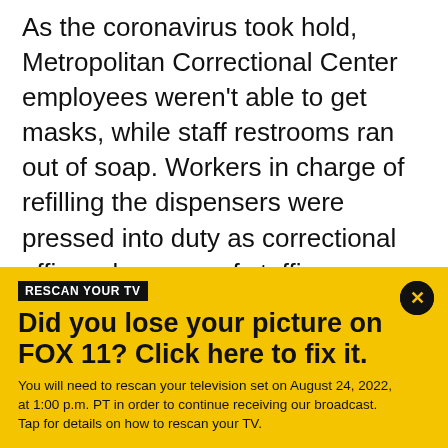As the coronavirus took hold, Metropolitan Correctional Center employees weren't able to get masks, while staff restrooms ran out of soap. Workers in charge of refilling the dispensers were pressed into duty as correctional officers because of staffing shortages. Early in the crisis, more than 25% of staff positions were vacant.

In May 2020, a court-authorized inspection found that inmates with coronavirus symptoms were neglected and ignored and social distancing was almost nonexistent, with some inmates sleeping on bunks
[Figure (infographic): Yellow banner advertisement for FOX 11 TV rescan. Contains label 'RESCAN YOUR TV', headline 'Did you lose your picture on FOX 11? Click here to fix it.', body text 'You will need to rescan your television set on August 24, 2022, at 1:00 p.m. PT in order to continue receiving our broadcast. Tap for details on how to rescan your TV.', and a circular close button with X.]